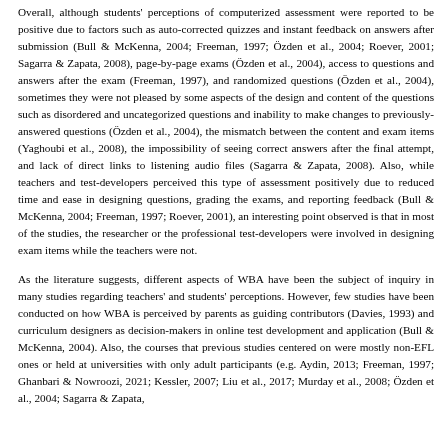Overall, although students' perceptions of computerized assessment were reported to be positive due to factors such as auto-corrected quizzes and instant feedback on answers after submission (Bull & McKenna, 2004; Freeman, 1997; Özden et al., 2004; Roever, 2001; Sagarra & Zapata, 2008), page-by-page exams (Özden et al., 2004), access to questions and answers after the exam (Freeman, 1997), and randomized questions (Özden et al., 2004), sometimes they were not pleased by some aspects of the design and content of the questions such as disordered and uncategorized questions and inability to make changes to previously-answered questions (Özden et al., 2004), the mismatch between the content and exam items (Yaghoubi et al., 2008), the impossibility of seeing correct answers after the final attempt, and lack of direct links to listening audio files (Sagarra & Zapata, 2008). Also, while teachers and test-developers perceived this type of assessment positively due to reduced time and ease in designing questions, grading the exams, and reporting feedback (Bull & McKenna, 2004; Freeman, 1997; Roever, 2001), an interesting point observed is that in most of the studies, the researcher or the professional test-developers were involved in designing exam items while the teachers were not.
As the literature suggests, different aspects of WBA have been the subject of inquiry in many studies regarding teachers' and students' perceptions. However, few studies have been conducted on how WBA is perceived by parents as guiding contributors (Davies, 1993) and curriculum designers as decision-makers in online test development and application (Bull & McKenna, 2004). Also, the courses that previous studies centered on were mostly non-EFL ones or held at universities with only adult participants (e.g. Aydin, 2013; Freeman, 1997; Ghanbari & Nowroozi, 2021; Kessler, 2007; Liu et al., 2017; Murday et al., 2008; Özden et al., 2004; Sagarra & Zapata,